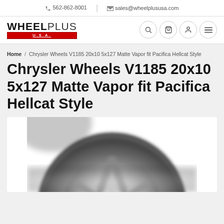562-862-8001 | sales@wheelplususa.com
[Figure (logo): WheelPlus U.S.A. logo with bold WHEEL in black, PLUS in lighter weight, and U.S.A. in red underlined box below]
Home / Chrysler Wheels V1185 20x10 5x127 Matte Vapor fit Pacifica Hellcat Style
Chrysler Wheels V1185 20x10 5x127 Matte Vapor fit Pacifica Hellcat Style
[Figure (photo): Partial photo of a chrome/matte finish alloy wheel (Hellcat style), shown from a close-up angle against a white background, slightly blurred at edges]